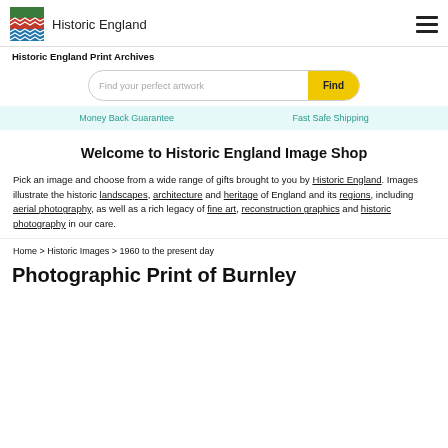Historic England
Historic England Print Archives
Find your perfect artwork — Find
Money Back Guarantee   Fast Safe Shipping
Welcome to Historic England Image Shop
Pick an image and choose from a wide range of gifts brought to you by Historic England. Images illustrate the historic landscapes, architecture and heritage of England and its regions, including aerial photography, as well as a rich legacy of fine art, reconstruction graphics and historic photography in our care.
Home > Historic Images > 1960 to the present day
Photographic Print of Burnley